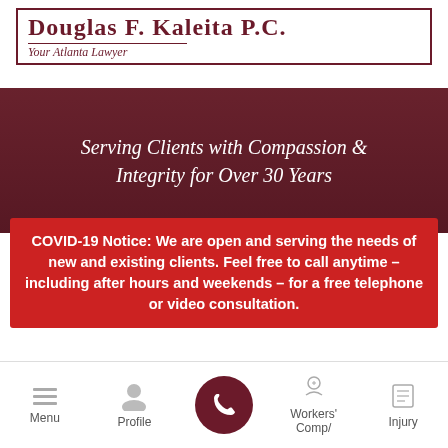Douglas F. Kaleita P.C. — Your Atlanta Lawyer
Serving Clients with Compassion & Integrity for Over 30 Years
COVID-19 Notice: We are open and serving the needs of new and existing clients. Feel free to call anytime - including after hours and weekends - for a free telephone or video consultation.
Personal Injury Claims in Atlanta...
Menu | Profile | [Phone] | Workers' Comp/ | Injury